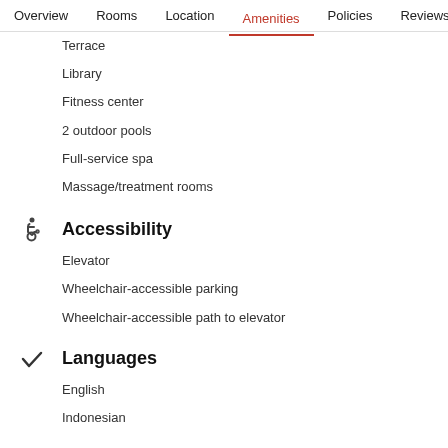Overview  Rooms  Location  Amenities  Policies  Reviews
Terrace
Library
Fitness center
2 outdoor pools
Full-service spa
Massage/treatment rooms
Accessibility
Elevator
Wheelchair-accessible parking
Wheelchair-accessible path to elevator
Languages
English
Indonesian